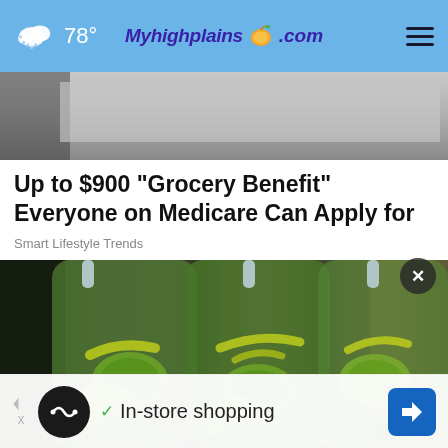78° Myhighplains.com
[Figure (photo): Blurred gray background image at top of article below nav bar]
Up to $900 "Grocery Benefit" Everyone on Medicare Can Apply for
Smart Lifestyle Trends
[Figure (photo): Three plastic water bottles filled with cucumber slices, lemon strips, and mint leaves infused water]
In-store shopping